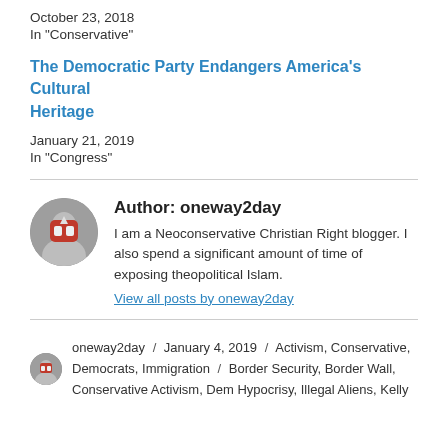October 23, 2018
In "Conservative"
The Democratic Party Endangers America’s Cultural Heritage
January 21, 2019
In "Congress"
Author: oneway2day
I am a Neoconservative Christian Right blogger. I also spend a significant amount of time of exposing theopolitical Islam.
View all posts by oneway2day
oneway2day / January 4, 2019 / Activism, Conservative, Democrats, Immigration / Border Security, Border Wall, Conservative Activism, Dem Hypocrisy, Illegal Aliens, Kelly